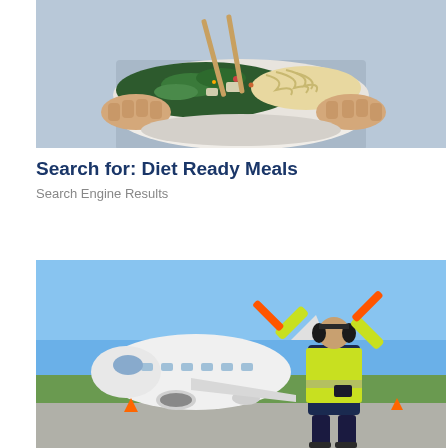[Figure (photo): Person holding a white bowl filled with noodles, green vegetables, and chopsticks resting on top]
Search for: Diet Ready Meals
Search Engine Results
[Figure (photo): Airport ground crew worker in yellow high-visibility vest and ear protection holding orange signal batons, facing a white commercial airplane on the tarmac]